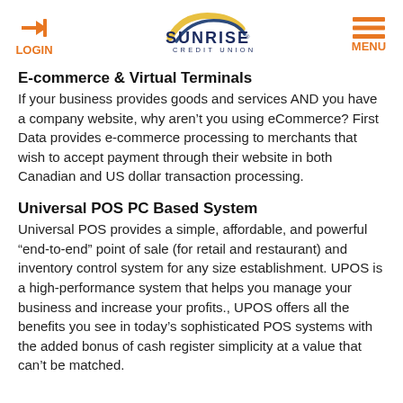LOGIN | Sunrise Credit Union | MENU
E-commerce & Virtual Terminals
If your business provides goods and services AND you have a company website, why aren’t you using eCommerce? First Data provides e-commerce processing to merchants that wish to accept payment through their website in both Canadian and US dollar transaction processing.
Universal POS PC Based System
Universal POS provides a simple, affordable, and powerful "end-to-end" point of sale (for retail and restaurant) and inventory control system for any size establishment. UPOS is a high-performance system that helps you manage your business and increase your profits., UPOS offers all the benefits you see in today’s sophisticated POS systems with the added bonus of cash register simplicity at a value that can’t be matched.